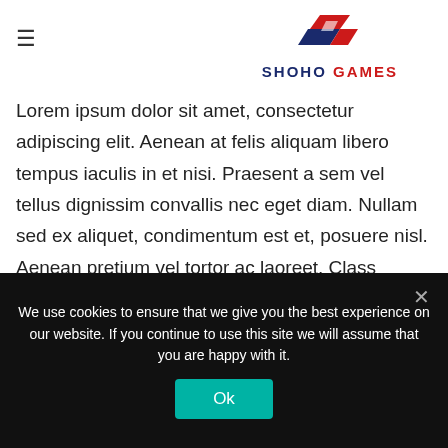[Figure (logo): Shoho Games logo with stylized red and blue racing emblem above text reading SHOHO GAMES]
Lorem ipsum dolor sit amet, consectetur adipiscing elit. Aenean at felis aliquam libero tempus iaculis in et nisi. Praesent a sem vel tellus dignissim convallis nec eget diam. Nullam sed ex aliquet, condimentum est et, posuere nisl. Aenean pretium vel tortor ac laoreet. Class aptent taciti sociosqu ad litora torquent per conubia nostra, per inceptos himenaeos. Etiam eget facilisis orci.
We use cookies to ensure that we give you the best experience on our website. If you continue to use this site we will assume that you are happy with it.